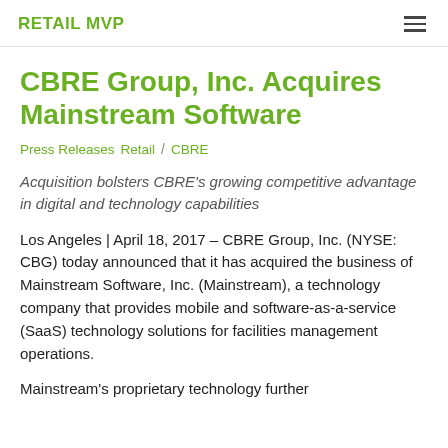RETAIL MVP
CBRE Group, Inc. Acquires Mainstream Software
Press Releases  Retail  /  CBRE
Acquisition bolsters CBRE's growing competitive advantage in digital and technology capabilities
Los Angeles | April 18, 2017 – CBRE Group, Inc. (NYSE: CBG) today announced that it has acquired the business of Mainstream Software, Inc. (Mainstream), a technology company that provides mobile and software-as-a-service (SaaS) technology solutions for facilities management operations.
Mainstream's proprietary technology further